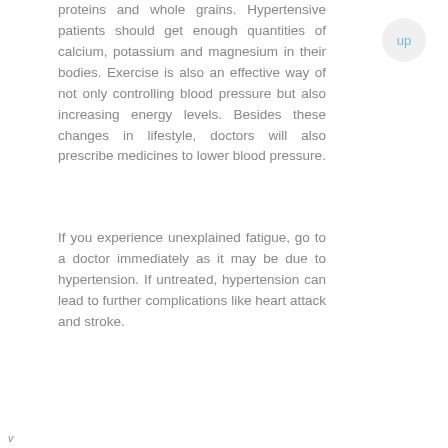proteins and whole grains. Hypertensive patients should get enough quantities of calcium, potassium and magnesium in their bodies. Exercise is also an effective way of not only controlling blood pressure but also increasing energy levels. Besides these changes in lifestyle, doctors will also prescribe medicines to lower blood pressure.
If you experience unexplained fatigue, go to a doctor immediately as it may be due to hypertension. If untreated, hypertension can lead to further complications like heart attack and stroke.
v